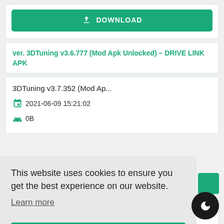[Figure (other): Green download button with download icon and text DOWNLOAD]
ver. 3DTuning v3.6.777 (Mod Apk Unlocked) – DRIVE LINK APK
3DTuning v3.7.352 (Mod Ap...
2021-06-09 15:21:02
0B
This website uses cookies to ensure you get the best experience on our website.
Learn more
[Figure (other): Green Got it! button for cookie consent]
2021-06-05 00:33:28